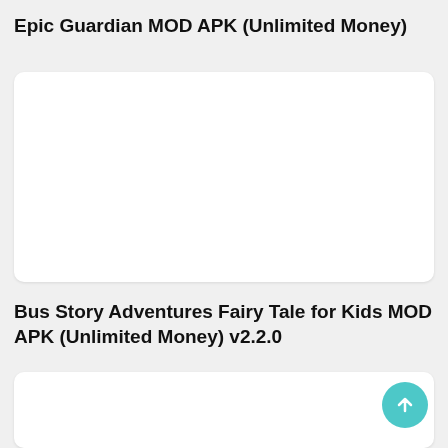Epic Guardian MOD APK (Unlimited Money)
[Figure (other): White card/image placeholder for Epic Guardian MOD APK]
Bus Story Adventures Fairy Tale for Kids MOD APK (Unlimited Money) v2.2.0
[Figure (other): White card/image placeholder for Bus Story Adventures Fairy Tale for Kids MOD APK]